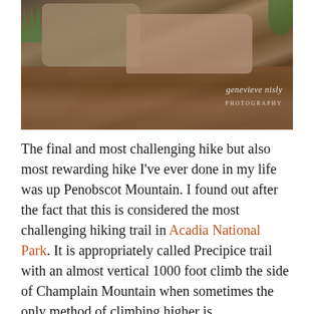[Figure (photo): Close-up photograph of rough granite rocks and stone steps covered with fallen brown leaves and some green moss/grass. Watermark reads 'genevieve nisly PHOTOGRAPHY' in bottom-right corner.]
The final and most challenging hike but also most rewarding hike I've ever done in my life was up Penobscot Mountain. I found out after the fact that this is considered the most challenging hiking trail in Acadia National Park. It is appropriately called Precipice trail with an almost vertical 1000 foot climb the side of Champlain Mountain when sometimes the only method of climbing higher is